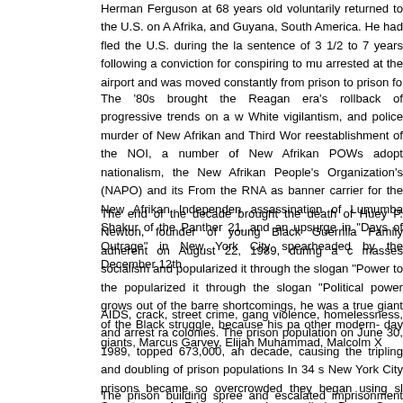Herman Ferguson at 68 years old voluntarily returned to the U.S. on Afrika, and Guyana, South America. He had fled the U.S. during the la sentence of 3 1/2 to 7 years following a conviction for conspiring to mu arrested at the airport and was moved constantly from prison to prison fo
The '80s brought the Reagan era's rollback of progressive trends on a w White vigilantism, and police murder of New Afrikan and Third Wor reestablishment of the NOI, a number of New Afrikan POWs adopt nationalism, the New Afrikan People's Organization's (NAPO) and its From the RNA as banner carrier for the New Afrikan Independen assassination of Lumumba Shakur of the Panther 21, and an upsurge in "Days of Outrage" in New York City spearheaded by the December 12th
The end of the decade brought the death of Huey P. Newton, founder of young Black Guerrilla Family adherent on August 22, 1989, during a c masses socialism and popularized it through the slogan "Power to the popularized it through the slogan "Political power grows out of the barre shortcomings, he was a true giant of the Black struggle, because his pa other modern- day giants, Marcus Garvey, Elijah Muhammad, Malcolm X
AIDS, crack, street crime, gang violence, homelessness, and arrest ra colonies. The prison population on June 30, 1989, topped 673,000, an decade, causing the tripling and doubling of prison populations In 34 s New York City prisons became so overcrowded they began using sl Secretary of Education and so-called Drug Czar, announced pla concentration camps.
The prison building spree and escalated imprisonment rates continue